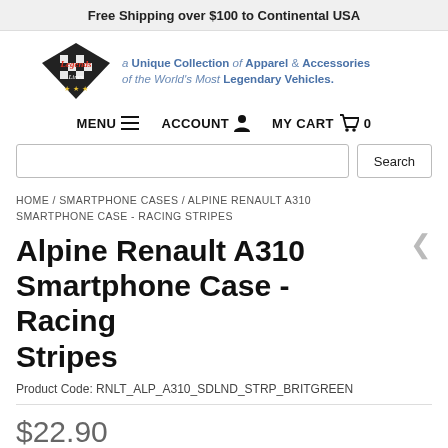Free Shipping over $100 to Continental USA
[Figure (logo): Legends Lines logo with checkered flag emblem and tagline: a Unique Collection of Apparel & Accessories of the World's Most Legendary Vehicles.]
MENU  ACCOUNT  MY CART  0
Search
HOME / SMARTPHONE CASES / ALPINE RENAULT A310 SMARTPHONE CASE - RACING STRIPES
Alpine Renault A310 Smartphone Case - Racing Stripes
Product Code: RNLT_ALP_A310_SDLND_STRP_BRITGREEN
$22.90